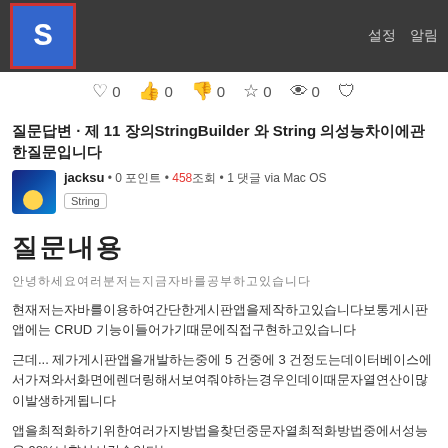S | 설정 알림
♡ 0  👍 0  👎 0  ☆ 0  👁 0  🛡
질문답변 · 제 11 장의StringBuilder 와 String 의성능차이에관한질문입니다
jacksu • 0 포인트 • 458 조회 • 1 댓글 via Mac OS
String
질문내용
안녕하세요여러분저는지금자바를공부하고있습니다
현재저는자바를이용하여간단한게시판앱을제작하고있습니다보통게시판앱에는 CRUD 기능이들어가기때문에직접구현하고있습니다
근데... 제가게시판앱을개발하는중에 5 건중에 3 건정도는데이터베이스에서가져와서화면에렌더링해서보여줘야하는경우인데이때문자열연산이많이발생하게됩니다
앱을최적화하기위한여러가지방법을찾던중문자열최적화방법중에서성능을 98%나향상시킬수있다는